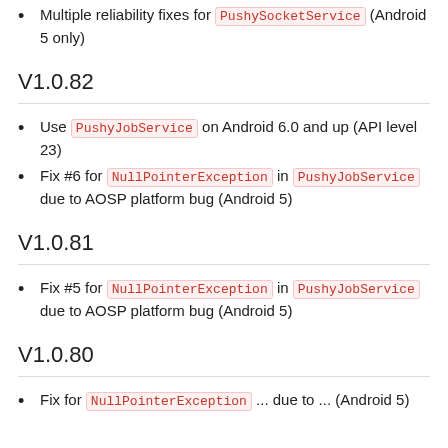Multiple reliability fixes for PushySocketService (Android 5 only)
V1.0.82
Use PushyJobService on Android 6.0 and up (API level 23)
Fix #6 for NullPointerException in PushyJobService due to AOSP platform bug (Android 5)
V1.0.81
Fix #5 for NullPointerException in PushyJobService due to AOSP platform bug (Android 5)
V1.0.80
Fix for ... due to ... (Android 5)